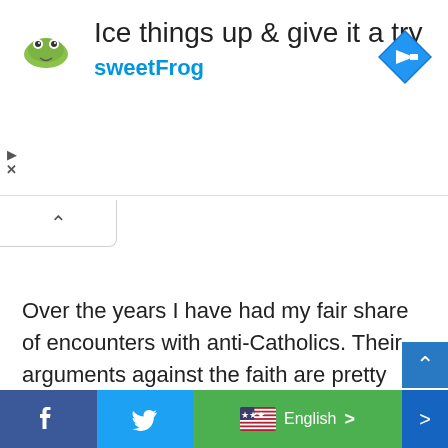[Figure (screenshot): sweetFrog advertisement banner with logo, headline 'Ice things up & give it a try', brand name 'sweetFrog', and navigation icon]
Over the years I have had my fair share of encounters with anti-Catholics. Their arguments against the faith are pretty predictable – one of the most popular being that the Pope is the Antichrist. One of the typical “gotcha” proofs of this claim is the Papal symbol of the upside down or inverted
[Figure (screenshot): Bottom social sharing and translation bar with Facebook, Twitter, and English language selector buttons]